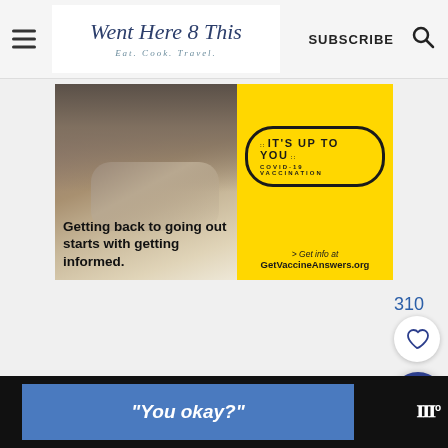Went Here 8 This — Eat. Cook. Travel. | SUBSCRIBE
[Figure (infographic): COVID-19 vaccination advertisement. Left half shows a person sitting cross-legged holding a phone, with dark gradient overlay. Text reads 'Getting back to going out starts with getting informed.' Right half is yellow background with badge reading 'IT'S UP TO YOU COVID-19 VACCINATION' and text '> Get info at GetVaccineAnswers.org']
310
[Figure (infographic): White circular like/heart button icon with heart outline in navy blue]
[Figure (infographic): Dark blue circular search/magnify button icon]
“You okay?”
[Figure (logo): Bottom right: wavy/Wear logo with degree symbol]